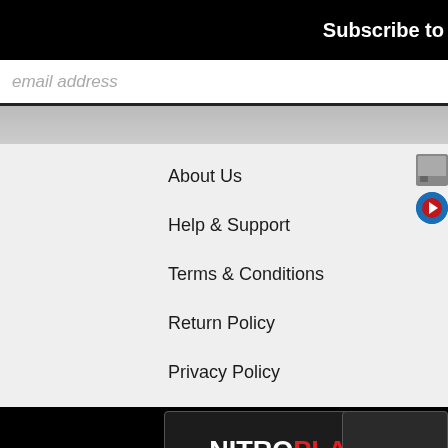Subscribe to
email address
About Us
Help & Support
Terms & Conditions
Return Policy
Privacy Policy
[Figure (logo): NitroPlanes.com logo with ENTER HERE button]
RC Airplanes